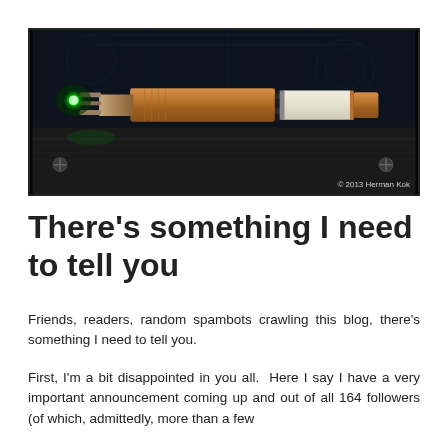[Figure (photo): Photo of a sonic screwdriver prop (Doctor Who) with glowing green tip, copper/bronze body, black handle, and white section, resting on a black leather surface. Copyright 2013 Herman Kok.]
There's something I need to tell you
Friends, readers, random spambots crawling this blog, there's something I need to tell you.
First, I'm a bit disappointed in you all.  Here I say I have a very important announcement coming up and out of all 164 followers (of which, admittedly, more than a few